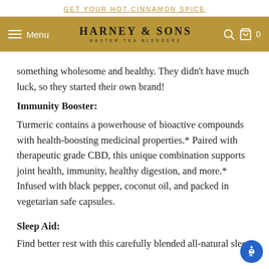GET YOUR HOT CINNAMON SPICE
HARNEY & SONS MASTER TEA BLENDERS — Menu — Search — Cart 0
something wholesome and healthy. They didn't have much luck, so they started their own brand!
Immunity Booster:
Turmeric contains a powerhouse of bioactive compounds with health-boosting medicinal properties.* Paired with therapeutic grade CBD, this unique combination supports joint health, immunity, healthy digestion, and more.* Infused with black pepper, coconut oil, and packed in vegetarian safe capsules.
Sleep Aid:
Find better rest with this carefully blended all-natural sleep